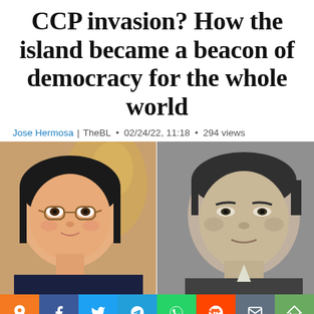CCP invasion? How the island became a beacon of democracy for the whole world
Jose Hermosa | TheBL • 02/24/22, 11:18 • 294 views
[Figure (photo): Split photo: left side shows a woman (Taiwanese president) in color with glasses; right side shows a man (Chinese leader) in black and white. Social media sharing buttons bar below.]
[Figure (infographic): Social media sharing buttons: orange pin, Facebook, Twitter, Telegram, WhatsApp, Reddit, email, share]